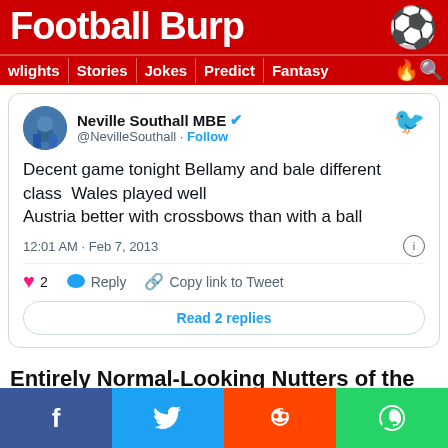Football Burp
wlights | Stories | Jokes | Predict | Fantasy
Neville Southall MBE @NevilleSouthall · Follow

Decent game tonight Bellamy and bale different class  Wales played well
Austria better with crossbows than with a ball

12:01 AM · Feb 7, 2013

❤ 2   Reply   Copy link to Tweet

Read 2 replies
Entirely Normal-Looking Nutters of the Week